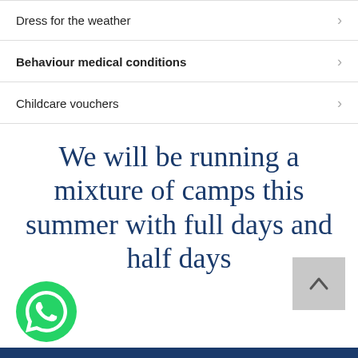Dress for the weather
Behaviour medical conditions
Childcare vouchers
We will be running a mixture of camps this summer with full days and half days
[Figure (logo): Green WhatsApp icon button]
[Figure (other): Grey scroll-to-top button with upward arrow]